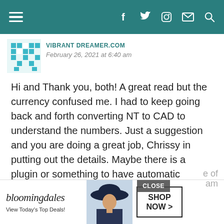Navigation bar with hamburger menu and social icons (f, Twitter, Instagram, mail, search)
VIBRANT DREAMER.COM
February 26, 2021 at 6:40 am
Hi and Thank you, both! A great read but the currency confused me. I had to keep going back and forth converting NT to CAD to understand the numbers. Just a suggestion and you are doing a great job, Chrissy in putting out the details. Maybe there is a plugin or something to have automatic conversion to CAD or USD.

Regarding the expenses, it doesn't seem to be any lower than what I pay in Quebec
[Figure (photo): Bloomingdale's advertisement banner with model in hat, 'View Today's Top Deals!' text, and 'SHOP NOW >' button. CLOSE button overlay visible.]